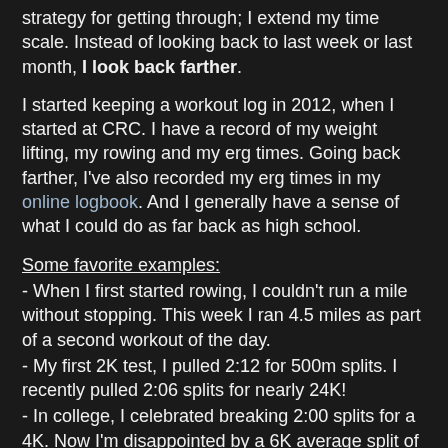strategy for getting through; I extend my time scale. Instead of looking back to last week or last month, I look back farther.
I started keeping a workout log in 2012, when I started at CRC. I have a record of my weight lifting, my rowing and my erg times. Going back farther, I've also recorded my erg times in my online logbook. And I generally have a sense of what I could do as far back as high school.
Some favorite examples:
- When I first started rowing, I couldn't run a mile without stopping. This week I ran 4.5 miles as part of a second workout of the day.
- My first 2K test, I pulled 2:12 for 500m splits. I recently pulled 2:06 splits for nearly 24K!
- In college, I celebrated breaking 2:00 splits for a 4K. Now I'm disappointed by a 6K average split of 1:59.
- In November, I lifted 45 pounds for 6x20 benchpulls. My last lift, I did 45 pounds for 6x150 benchpulls!
These examples remind me that improvement comes over